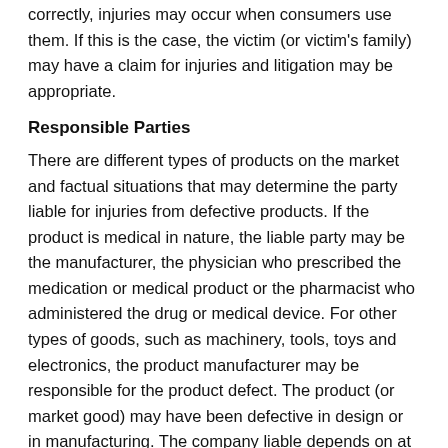correctly, injuries may occur when consumers use them. If this is the case, the victim (or victim's family) may have a claim for injuries and litigation may be appropriate.
Responsible Parties
There are different types of products on the market and factual situations that may determine the party liable for injuries from defective products. If the product is medical in nature, the liable party may be the manufacturer, the physician who prescribed the medication or medical product or the pharmacist who administered the drug or medical device. For other types of goods, such as machinery, tools, toys and electronics, the product manufacturer may be responsible for the product defect. The product (or market good) may have been defective in design or in manufacturing. The company liable depends on at what point in the product's creation the defective condition occurred. The company that designed the product may be different from the company that manufactured it.
Additionally, product manufacturers are mandated to test all